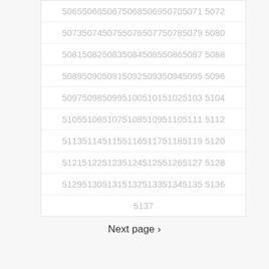5065506650675068506950705071 5072
5073507450755076507750785079 5080
5081508250835084508550865087 5088
5089509050915092509350945095 5096
5097509850995100510151025103 5104
5105510651075108510951105111 5112
5113511451155116511751185119 5120
5121512251235124512551265127 5128
5129513051315132513351345135 5136
5137
Next page >